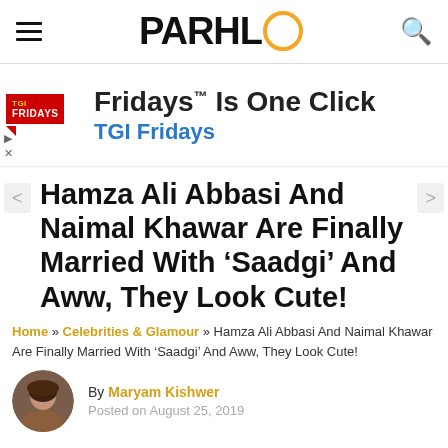PARHLO
[Figure (screenshot): TGI Fridays advertisement banner with logo and text 'Fridays TM Is One Click' and 'TGI Fridays' in blue]
Hamza Ali Abbasi And Naimal Khawar Are Finally Married With ‘Saadgi’ And Aww, They Look Cute!
Home » Celebrities & Glamour » Hamza Ali Abbasi And Naimal Khawar Are Finally Married With ‘Saadgi’ And Aww, They Look Cute!
By Maryam Kishwer
Posted on August 25, 2019